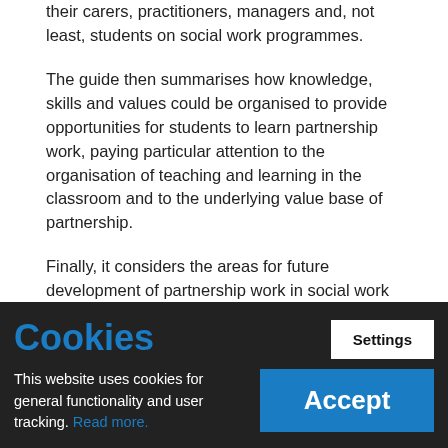their carers, practitioners, managers and, not least, students on social work programmes.
The guide then summarises how knowledge, skills and values could be organised to provide opportunities for students to learn partnership work, paying particular attention to the organisation of teaching and learning in the classroom and to the underlying value base of partnership.
Finally, it considers the areas for future development of partnership work in social work education.
Our aim is to present key messages and materials in an accessible way that will be of use to educators and all participants in the educational process. The materials presented in this guide have been identified from a number of sources. These include research findings from a
Cookies
This website uses cookies for general functionality and user tracking. Read more.
Settings
Accept